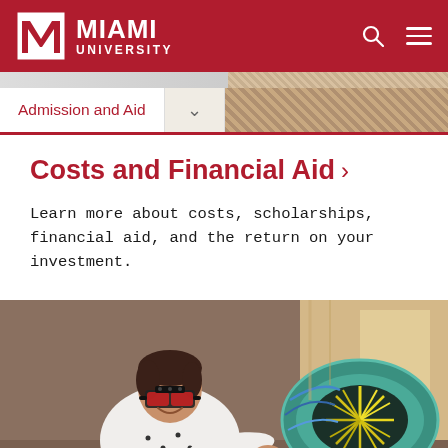Miami University
Costs and Financial Aid >
Learn more about costs, scholarships, financial aid, and the return on your investment.
[Figure (photo): A student wearing VR/AR glasses working with colorful scientific or engineering equipment, likely a wind tunnel or similar lab apparatus with teal and yellow components.]